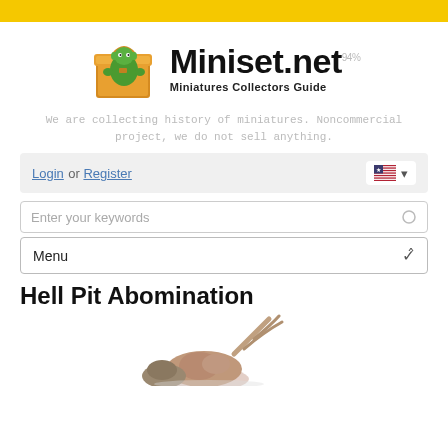[Figure (logo): Yellow top bar banner]
[Figure (logo): Miniset.net logo with goblin in a box and text 'Miniset.net Miniatures Collectors Guide']
We are collecting history of miniatures. Noncommercial project, we do not sell anything.
Login or Register
Enter your keywords
Menu
Hell Pit Abomination
[Figure (photo): Partial view of Hell Pit Abomination miniature figure]